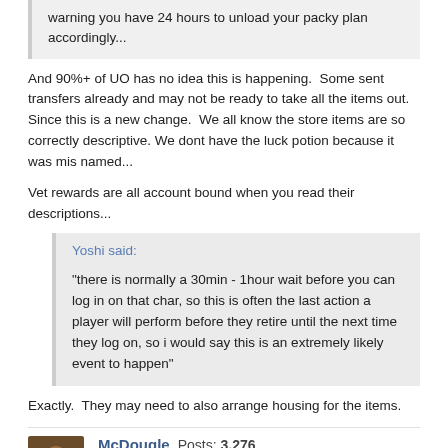warning you have 24 hours to unload your packy plan accordingly...
And 90%+ of UO has no idea this is happening.  Some sent transfers already and may not be ready to take all the items out.  Since this is a new change.  We all know the store items are so correctly descriptive. We dont have the luck potion because it was mis named...
Vet rewards are all account bound when you read their descriptions...
Yoshi said:

"there is normally a 30min - 1hour wait before you can log in on that char, so this is often the last action a player will perform before they retire until the next time they log on, so i would say this is an extremely likely event to happen"
Exactly.  They may need to also arrange housing for the items.
McDougle  Posts: 3,276
September 2021